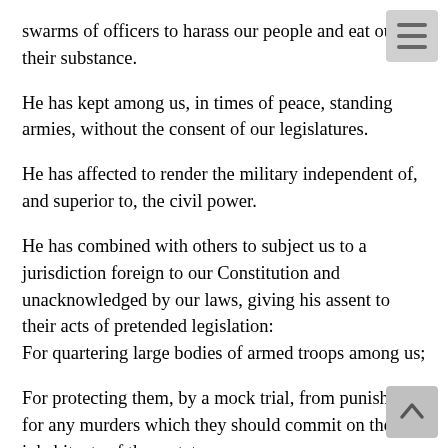swarms of officers to harass our people and eat out their substance.
He has kept among us, in times of peace, standing armies, without the consent of our legislatures.
He has affected to render the military independent of, and superior to, the civil power.
He has combined with others to subject us to a jurisdiction foreign to our Constitution and unacknowledged by our laws, giving his assent to their acts of pretended legislation:
For quartering large bodies of armed troops among us;
For protecting them, by a mock trial, from punishment for any murders which they should commit on the inhabitants of these states;
For cutting off our trade with all parts of the world;